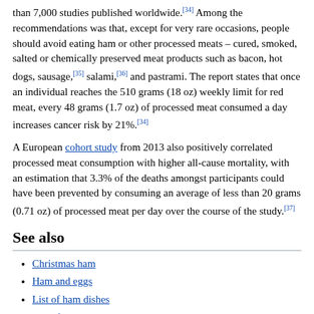than 7,000 studies published worldwide.[34] Among the recommendations was that, except for very rare occasions, people should avoid eating ham or other processed meats – cured, smoked, salted or chemically preserved meat products such as bacon, hot dogs, sausage,[35] salami,[36] and pastrami. The report states that once an individual reaches the 510 grams (18 oz) weekly limit for red meat, every 48 grams (1.7 oz) of processed meat consumed a day increases cancer risk by 21%.[34]
A European cohort study from 2013 also positively correlated processed meat consumption with higher all-cause mortality, with an estimation that 3.3% of the deaths amongst participants could have been prevented by consuming an average of less than 20 grams (0.71 oz) of processed meat per day over the course of the study.[37]
See also
Christmas ham
Ham and eggs
List of ham dishes
List of hams
List of smoked foods
Spam